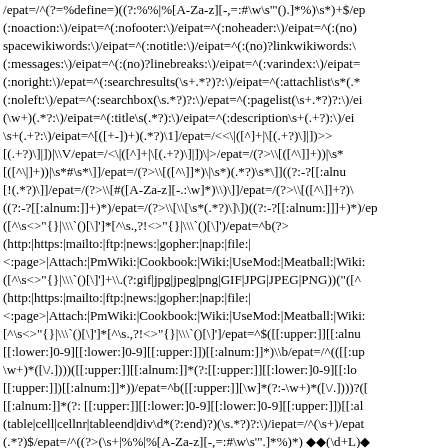/epat=/^(?=%define=)((?:%%|%[A-Za-z][-,=:#\w\s'"().]*%)\s*)+$/ep (:noaction:\)/eipat=^(:nofooter:\)/eipat=^(:noheader:\)/eipat=^(:(no)spacewikiwords:\)/eipat=^(:notitle:\)/eipat=^(:(no)?linkwikiwords:\ (:messages:\)/eipat=^(:(no)?linebreaks:\)/eipat=^(:varindex:\)/eipat= (:noright:\)/epat=^(:searchresults(\s+.*?)?:\)/eipat=^(:attachlist\s*(. (:noleft:\)/epat=^(:searchbox(\s.*?)?:\)/epat=^(:pagelist(\s+.*?)?:\)/ei (\w+)(.*?:\)/eipat=^(:title\s(.*?):\)/eipat=^(:description\s+(.+?):\)/ei \s+(.+?:\)/eipat=^[([+-])+)(.*?)\1]/epat=/<<!|([^]]+|\[([.+?)\]|])>> [(.+?)\]|])|\W/epat=/<\|([^]+|\[([.+?)\]|])|\>/epat=/(?>\[([^\]]+))\|\s* [([^\|]+))\|\s*#\s*\]]/epat=/(?>\[([^\]]*)\|\s*)(.*?)\s*\]]((?:-?[[:alnu [!(.*?)\]]/epat=/(?>\[#([A-Za-z][-.: \w]*)\)\]]/epat=/(?>\[([^\]]+?)( ((?:-?[[:alnum:]]+)*)/epat=/(?>\[\[\s*(.*?)\]\])((?:-?[[:alnum:]]]+)*)/ep ([^\s<>"{} |\\`()[\]']*[^\s.,?!<>"{} |\\`()[\]')/epat=^b(?>  (http:|https:|mailto:|ftp:|news:|gopher:|nap:|file:| <:page>|Attach:|PmWiki:|Cookbook:|Wiki:|UseMod:|Meatball:|Wiki: ([^\s<>"{} |\\`()[\]']+\.(?: gif|jpg|jpeg|png|GIF|JPG|JPEG|PNG))("([^ (http:|https:|mailto:|ftp:|news:|gopher:|nap:|file:| <:page>|Attach:|PmWiki:|Cookbook:|Wiki:|UseMod:|Meatball:|Wiki: [^\s<>"{} |\\`()[\]']*[^\s.,?!<>"{} |\\`()[\]']/epat=^$([[:upper:]][[:alnu [[:lower:]0-9][[:lower:]0-9][[:upper:]])[[:alnum:]]*)\b/epat=/^(([[:up \w+)*([\/.]))?([[:upper:]][[:alnum:]]*(?:[[:upper:]][[:lower:]0-9][[:lo [[:upper:]])[[:alnum:]]*))/epat=^b([[:upper:]][\w]*(?: -\w+)*([\/.]))?([ [[:alnum:]]*(?: [[:upper:]][[:lower:]0-9][[:lower:]0-9][[:upper:]])[[:al (table|cell|cellnr|tableend|div\d*(?: end)?)(\s.*?)?:\)/iepat=/^(\s+)/epat (.*?)$/epat=/^((?>( \s+|%%|%[A-Za-z][-,=:#\w\s'".]*%)*) ◆◆(\d+L)◆